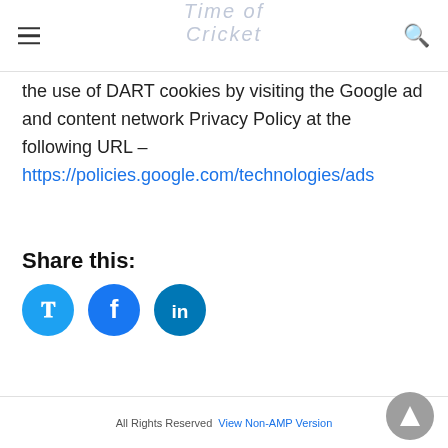Time of Cricket
the use of DART cookies by visiting the Google ad and content network Privacy Policy at the following URL – https://policies.google.com/technologies/ads
Share this:
[Figure (other): Social share buttons: Twitter, Facebook, LinkedIn circular icons]
All Rights Reserved  View Non-AMP Version